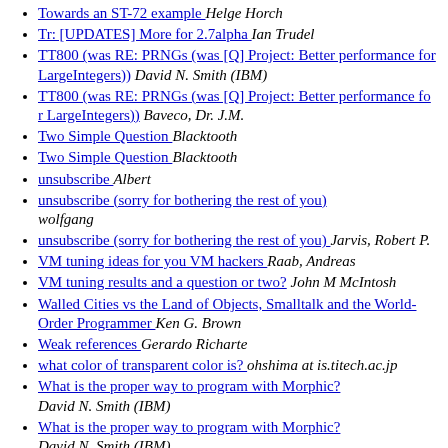Towards an ST-72 example   Helge Horch
Tr: [UPDATES] More for 2.7alpha   Ian Trudel
TT800 (was RE: PRNGs (was [Q] Project: Better performance for LargeIntegers))   David N. Smith (IBM)
TT800 (was RE: PRNGs (was [Q] Project: Better performance fo r LargeIntegers))   Baveco, Dr. J.M.
Two Simple Question   Blacktooth
Two Simple Question   Blacktooth
unsubscribe   Albert
unsubscribe (sorry for bothering the rest of you)   wolfgang
unsubscribe (sorry for bothering the rest of you)   Jarvis, Robert P.
VM tuning ideas for you VM hackers   Raab, Andreas
VM tuning results and a question or two?   John M McIntosh
Walled Cities vs the Land of Objects, Smalltalk and the World-Order Programmer   Ken G. Brown
Weak references   Gerardo Richarte
what color of transparent color is?   ohshima at is.titech.ac.jp
What is the proper way to program with Morphic?   David N. Smith (IBM)
What is the proper way to program with Morphic?   David N. Smith (IBM)